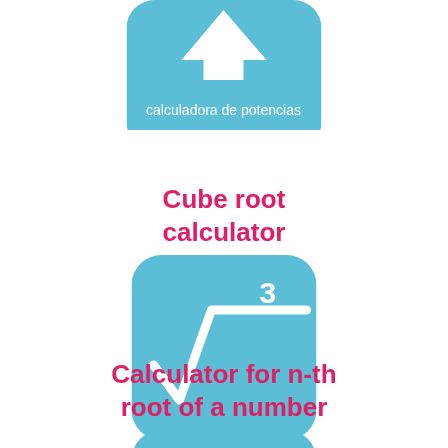[Figure (screenshot): Top app icon (partially visible): blue rounded square with white caret/arrow icon and text 'calculadora de potencias' below it]
Cube root calculator
[Figure (screenshot): Blue rounded square app icon with white cube root symbol (radical sign with superscript 3)]
Calculator for n-th root of a number
[Figure (screenshot): Partially visible blue rounded square app icon at the bottom of the page]